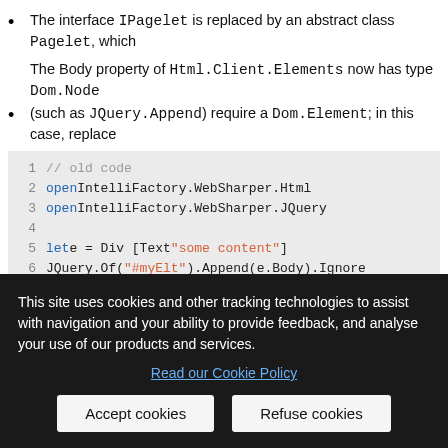The interface IPagelet is replaced by an abstract class Pagelet, which
The Body property of Html.Client.Elements now has type Dom.Node
(such as JQuery.Append) require a Dom.Element; in this case, replace
[Figure (screenshot): Code block showing old and new F# code using IntelliFactory.WebSharper.Html and JQuery, with line numbers 1-13. Old code uses e.Body, new code uses e.Dom.]
This site uses cookies and other tracking technologies to assist with navigation and your ability to provide feedback, and analyse your use of our products and services.
Read our Cookie Policy
Accept cookies   Refuse cookies